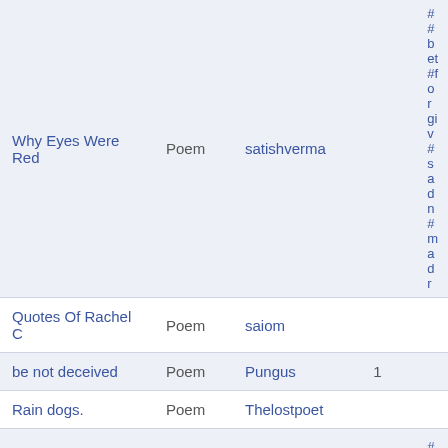| Title | Type | Author | Count | Tags |
| --- | --- | --- | --- | --- |
| Why Eyes Were Red | Poem | satishverma |  | # #bet #forgiv #sadn #madr |
| Quotes Of Rachel C | Poem | saiom |  |  |
| be not deceived | Poem | Pungus | 1 |  |
| Rain dogs. | Poem | Thelostpoet |  |  |
| ROMANCE OF MOONLIGHT | Poem | georgeschaefer |  | #ROM MOON |
| Walking around Edaville Railroad | Poem | jpike |  |  |
| PEN STUBBORNLY INSISTING | Prose | georgeschaefer |  |  |
| Pied Sky | Prose | allets | 8 |  |
| Room To Turn Around | Poem | saiom | 1 |  |
| Hoss Died Half A Century Ago | Poem | randyjohnson | 1 |  |